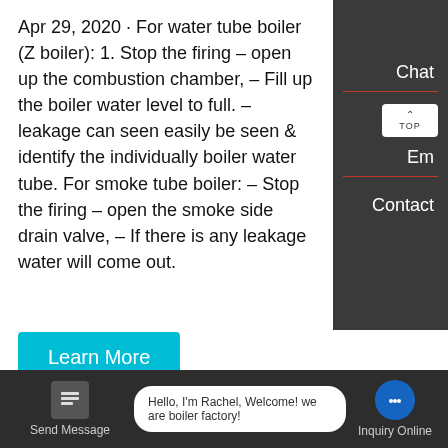Apr 29, 2020 · For water tube boiler (Z boiler): 1. Stop the firing – open up the combustion chamber, – Fill up the boiler water level to full. – leakage can seen easily be seen & identify the individually boiler water tube. For smoke tube boiler: – Stop the firing – open the smoke side drain valve, – If there is any leakage water will come out.
[Figure (screenshot): Webpage screenshot showing a Learn More button (cyan), a boiler factory image with WhatsApp contact button, UI overlays for Chat/Em/Contact panels on the right, and a bottom chat bar with Send Message and Inquiry Online options.]